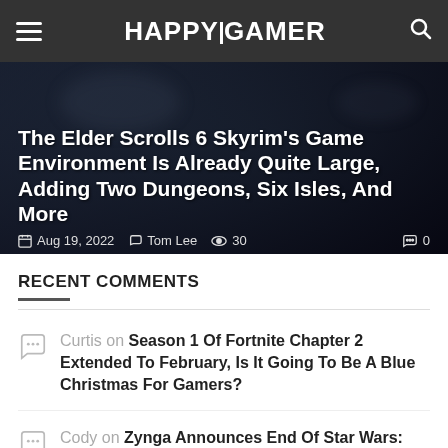HAPPYGAMER
[Figure (screenshot): Dark hero image background for article about The Elder Scrolls 6 Skyrim's game environment]
The Elder Scrolls 6 Skyrim's Game Environment Is Already Quite Large, Adding Two Dungeons, Six Isles, And More
Aug 19, 2022  Tom Lee  30  0
RECENT COMMENTS
Curtis on Season 1 Of Fortnite Chapter 2 Extended To February, Is It Going To Be A Blue Christmas For Gamers?
Cody on Zynga Announces End Of Star Wars: Commander Plus Removes It From App Stores
Ice Ninja on When Will The Terraria 1.4 Journey's